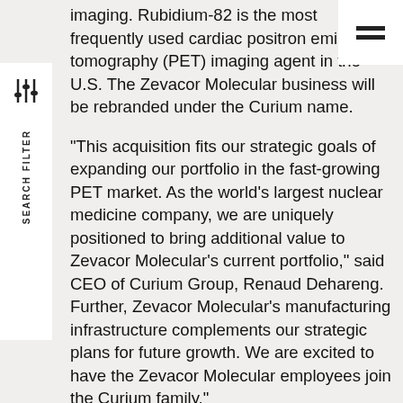imaging. Rubidium-82 is the most frequently used cardiac positron emission tomography (PET) imaging agent in the U.S. The Zevacor Molecular business will be rebranded under the Curium name.
“This acquisition fits our strategic goals of expanding our portfolio in the fast-growing PET market. As the world’s largest nuclear medicine company, we are uniquely positioned to bring additional value to Zevacor Molecular’s current portfolio,” said CEO of Curium Group, Renaud Dehareng. Further, Zevacor Molecular’s manufacturing infrastructure complements our strategic plans for future growth. We are excited to have the Zevacor Molecular employees join the Curium family.”
“Curium has a long history of providing cardiac imaging products to our customers. This acquisition allows Curium to play a key role in the supply of both PET and single-photon emission computed tomography (SPECT) cardiac imaging,” said CEO, North America, Dan Brague. “We are very familiar with this market and look forward to helping healthcare providers and their patients.”